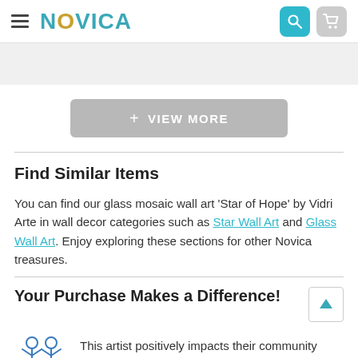NOVICA
[Figure (other): View More button with plus icon]
Find Similar Items
You can find our glass mosaic wall art 'Star of Hope' by Vidri Arte in wall decor categories such as Star Wall Art and Glass Wall Art. Enjoy exploring these sections for other Novica treasures.
Your Purchase Makes a Difference!
[Figure (illustration): Line art illustration of two people with arms raised]
This artist positively impacts their community through job creation and provides jobs for 2 or